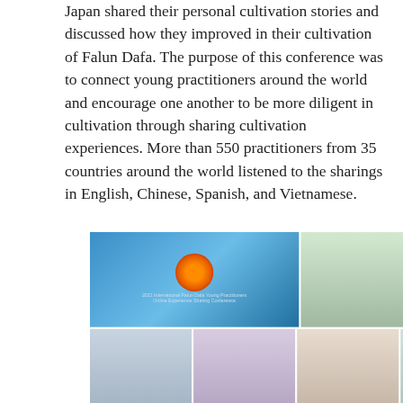Japan shared their personal cultivation stories and discussed how they improved in their cultivation of Falun Dafa. The purpose of this conference was to connect young practitioners around the world and encourage one another to be more diligent in cultivation through sharing cultivation experiences. More than 550 practitioners from 35 countries around the world listened to the sharings in English, Chinese, Spanish, and Vietnamese.
[Figure (photo): A 3x3 grid collage of video conference screenshots showing practitioners bowing with hands clasped. Top row: conference title slide (blue background with Falun Dafa emblem), a woman in black, a man in white shirt. Middle row: a woman in black, a man in light blue shirt, a woman with Falun Dafa posters in background, a man in dark shirt. Bottom row: a woman in light blue, a man in suit with tie, a man in suit with glasses, a young man in dark jacket.]